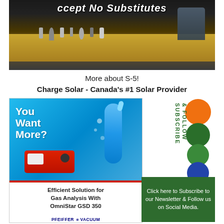[Figure (photo): Top banner image showing products on a wooden table with text 'Accept No Substitutes' overlaid]
More about S-5!
Charge Solar - Canada's #1 Solar Provider
[Figure (photo): Pfeiffer Vacuum advertisement - 'You Want More?' with OmniStar GSD 350 gas analyzer. Blue background with red machine image. Text: 'Efficient Solution for Gas Analysis With OmniStar GSD 350'. Pfeiffer Vacuum logo and tagline 'Your Success. Our Passion.']
[Figure (infographic): Subscribe & Follow graphic with orange, green and blue circles, green vertical text 'SUBSCRIBE & FOLLOW', and green button 'Click here to Subscribe to our Newsletter & Follow us on Social Media.']
Charge Solar - Canada's #1 Solar Provider